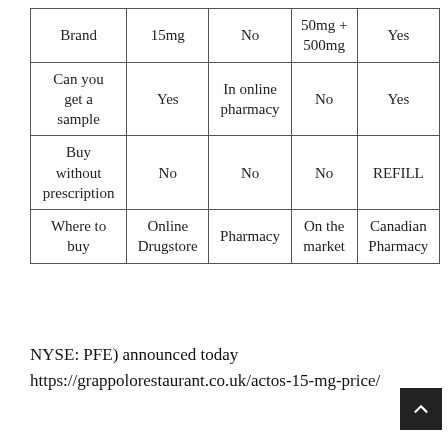| Brand | 15mg | No | 50mg + 500mg | Yes |
| Can you get a sample | Yes | In online pharmacy | No | Yes |
| Buy without prescription | No | No | No | REFILL |
| Where to buy | Online Drugstore | Pharmacy | On the market | Canadian Pharmacy |
NYSE: PFE) announced today
https://grappolorestaurant.co.uk/actos-15-mg-price/